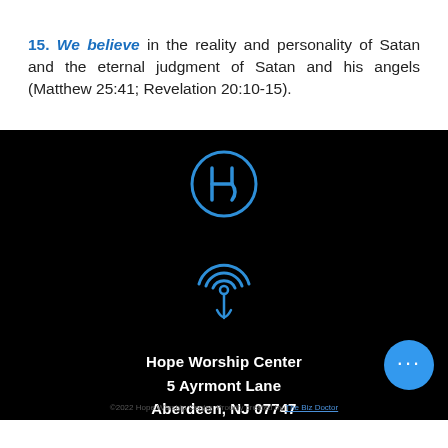15. We believe in the reality and personality of Satan and the eternal judgment of Satan and his angels (Matthew 25:41; Revelation 20:10-15).
[Figure (logo): Hope Worship Center logo — stylized H inside a circle, blue outline on black background]
[Figure (logo): Podcast/location pin icon — concentric arcs with a downward pin, blue outline on black background]
Hope Worship Center
5 Ayrmont Lane
Aberdeen, NJ 07747
©2022 Hope Worship Center. Proudly created by The Biz Doctor